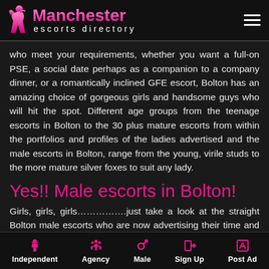[Figure (logo): Manchester escorts directory logo with pink silhouette figure and pink gradient text]
who meet your requirements, whether you want a full-on PSE, a social date perhaps as a companion to a company dinner, or a romantically inclined GFE escort, Bolton has an amazing choice of gorgeous girls and handsome guys who will hit the spot. Different age groups from the teenage escorts in Bolton to the 30 plus mature escorts from within the portfolios and profiles of the ladies advertised and the male escorts in Bolton, range from the young, virile studs to the more mature silver foxes to suit any lady.
Yes!! Male escorts in Bolton!
Girls, girls, girls…………….just take a look at the straight Bolton male escorts who are now advertising their time and companionship to
Independent  Agency  Male  Sign Up  Post Ad